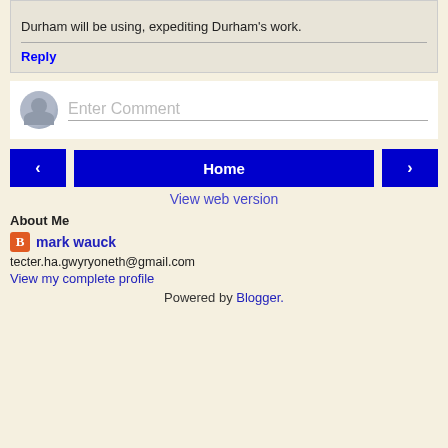...has gathered a lot of information that Durham will be using, expediting Durham's work.
Reply
Enter Comment
‹
Home
›
View web version
About Me
mark wauck
tecter.ha.gwyryoneth@gmail.com
View my complete profile
Powered by Blogger.